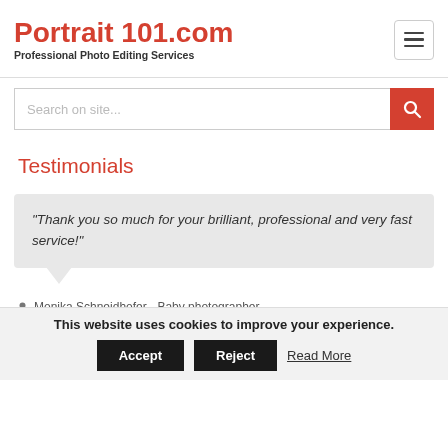Portrait 101.com — Professional Photo Editing Services
[Figure (screenshot): Search bar with placeholder 'Search on site...' and red search button with magnifying glass icon]
Testimonials
“Thank you so much for your brilliant, professional and very fast service!”
Monika Schneidhofer - Baby photographer
This website uses cookies to improve your experience.
Accept
Reject
Read More